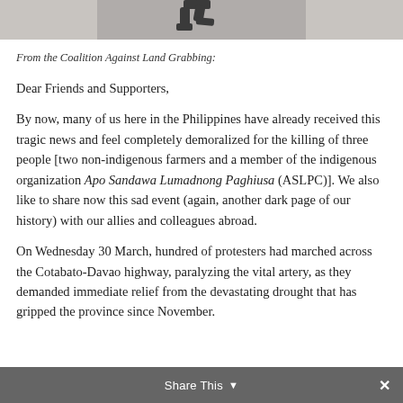[Figure (photo): Cropped photo showing legs/feet of a walking person, bottom portion of the image visible as a strip at the top of the page]
From the Coalition Against Land Grabbing:
Dear Friends and Supporters,
By now, many of us here in the Philippines have already received this tragic news and feel completely demoralized for the killing of three people [two non-indigenous farmers and a member of the indigenous organization Apo Sandawa Lumadnong Paghiusa (ASLPC)]. We also like to share now this sad event (again, another dark page of our history) with our allies and colleagues abroad.
On Wednesday 30 March, hundred of protesters had marched across the Cotabato-Davao highway, paralyzing the vital artery, as they demanded immediate relief from the devastating drought that has gripped the province since November.
Share This ✕